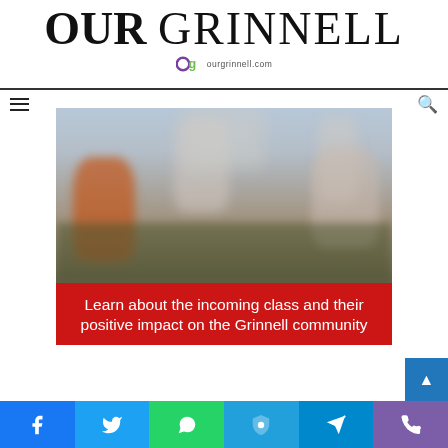OUR GRINNELL — ourgrinnell.com
[Figure (photo): Students sitting on the ground outdoors, blurred background with people walking]
Learn about the incoming class and their positive impact on the Grinnell community